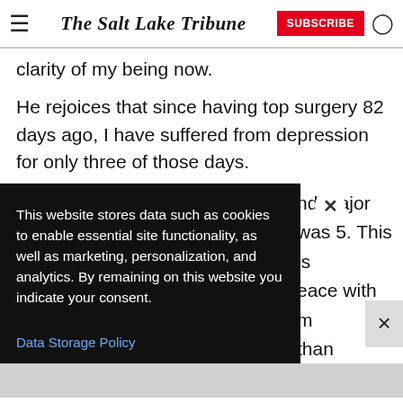The Salt Lake Tribune
clarity of my being now.
He rejoices that since having top surgery 82 days ago, I have suffered from depression for only three of those days.
This website stores data such as cookies to enable essential site functionality, as well as marketing, personalization, and analytics. By remaining on this website you indicate your consent.
Data Storage Policy
nd major
vas 5. This is
eace with
m
than